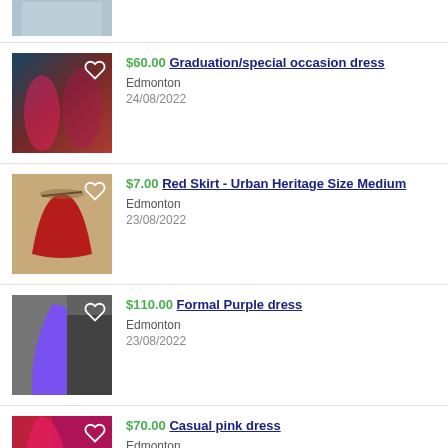[Figure (photo): Partial view of a dress listing image at top]
$60.00 Graduation/special occasion dress
Edmonton
24/08/2022
$7.00 Red Skirt - Urban Heritage Size Medium
Edmonton
23/08/2022
$110.00 Formal Purple dress
Edmonton
23/08/2022
$70.00 Casual pink dress
Edmonton
23/08/2022